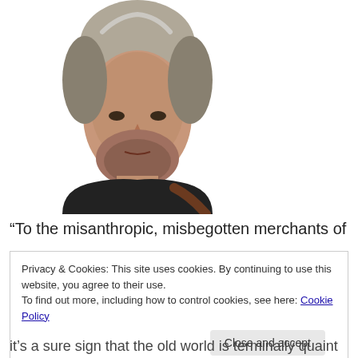[Figure (photo): Portrait photo of a middle-aged man with grey-streaked hair and a beard, wearing a black t-shirt, against a white background]
“To the misanthropic, misbegotten merchants of gloom
Privacy & Cookies: This site uses cookies. By continuing to use this website, you agree to their use.
To find out more, including how to control cookies, see here: Cookie Policy
Close and accept
it’s a sure sign that the old world is terminally quaint